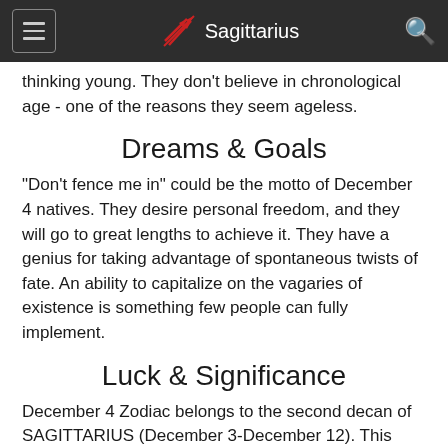Sagittarius
thinking young. They don't believe in chronological age - one of the reasons they seem ageless.
Dreams & Goals
"Don't fence me in" could be the motto of December 4 natives. They desire personal freedom, and they will go to great lengths to achieve it. They have a genius for taking advantage of spontaneous twists of fate. An ability to capitalize on the vagaries of existence is something few people can fully implement.
Luck & Significance
December 4 Zodiac belongs to the second decan of SAGITTARIUS (December 3-December 12). This decan is under the supervision of the planet Mars. Those born in this period are ambitious and resourceful just like a true Sagittarius and more...